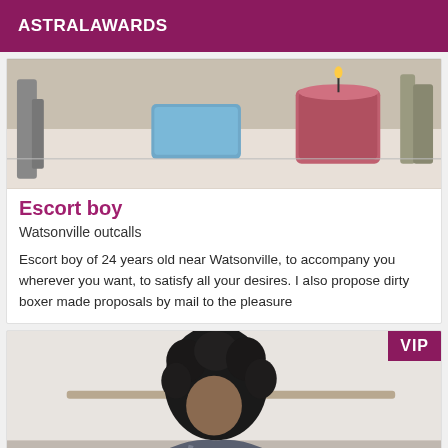ASTRALAWARDS
[Figure (photo): Photo showing bathroom items: a blue sponge, a pink candle, and other objects on a white surface]
Escort boy
Watsonville outcalls
Escort boy of 24 years old near Watsonville, to accompany you wherever you want, to satisfy all your desires. I also propose dirty boxer made proposals by mail to the pleasure
[Figure (photo): Photo of a person with dark curly hair, seen from the side/back, in a room with a clock on the wall]